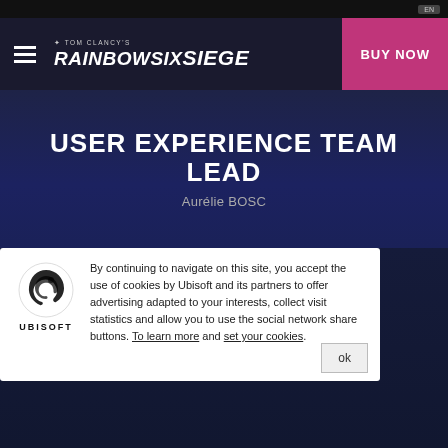Rainbow Six Siege – User Experience Team Lead
[Figure (logo): Tom Clancy's Rainbow Six Siege logo in white on dark navy navigation bar with hamburger menu and BUY NOW button]
USER EXPERIENCE TEAM LEAD
Aurélie BOSC
USER EXPERIENCE DESIGNER
Abhishek AGARWAL
Marc-Philippe AUBIN
Rachel BOOTH
Sébastien FRANÇOIS
Kevin HA
Emmanuel LARIVE
By continuing to navigate on this site, you accept the use of cookies by Ubisoft and its partners to offer advertising adapted to your interests, collect visit statistics and allow you to use the social network share buttons. To learn more and set your cookies.